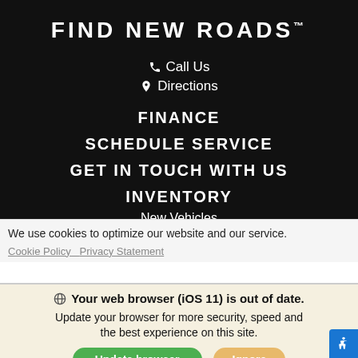FIND NEW ROADS™
📞 Call Us
📍 Directions
FINANCE
SCHEDULE SERVICE
GET IN TOUCH WITH US
INVENTORY
New Vehicles
Pre-Owned
We use cookies to optimize our website and our service.
Cookie Policy   Privacy Statement
Your web browser (iOS 11) is out of date. Update your browser for more security, speed and the best experience on this site.
Update browser   Ignore